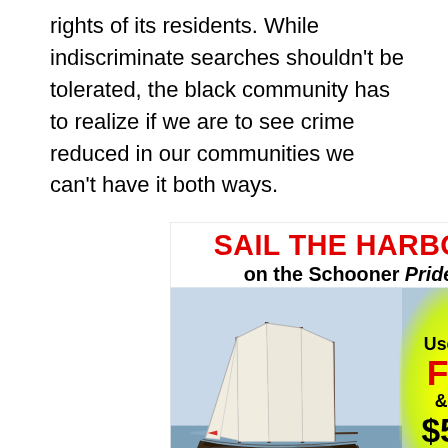rights of its residents. While indiscriminate searches shouldn't be tolerated, the black community has to realize if we are to see crime reduced in our communities we can't have it both ways.
[Figure (other): Advertisement for Schooner Pride sailing tours. Red bold headline 'SAIL THE HARBOR' with subtitle 'on the Schooner Pride'. Photo of a tall sailing schooner on calm water. Yellow radial glow area with text: Use code FUN & save $5.00. Close X button in top right corner.]